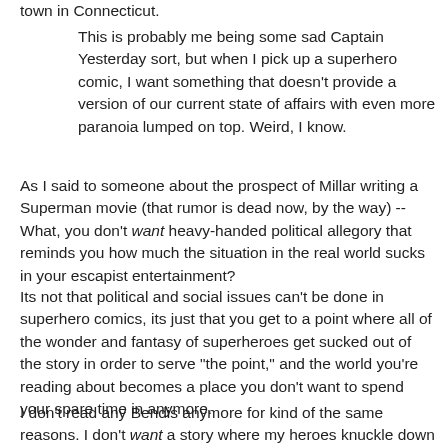town in Connecticut.
This is probably me being some sad Captain Yesterday sort, but when I pick up a superhero comic, I want something that doesn't provide a version of our current state of affairs with even more paranoia lumped on top. Weird, I know.
As I said to someone about the prospect of Millar writing a Superman movie (that rumor is dead now, by the way) -- What, you don't want heavy-handed political allegory that reminds you how much the situation in the real world sucks in your escapist entertainment?
Its not that political and social issues can't be done in superhero comics, its just that you get to a point where all of the wonder and fantasy of superheroes get sucked out of the story in order to serve "the point," and the world you're reading about becomes a place you don't want to spend your spare time in anymore.
I don't read any Bendis anymore for kind of the same reasons. I don't want a story where my heroes knuckle down